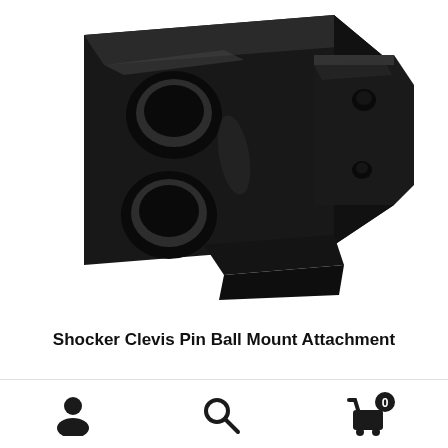[Figure (photo): Photo of a black powder-coated Shocker Clevis Pin Ball Mount Attachment — a heavy-duty steel mounting bracket with two large circular holes on the left side and two smaller holes on the right side, shown from a three-quarter angle against a white background.]
Shocker Clevis Pin Ball Mount Attachment